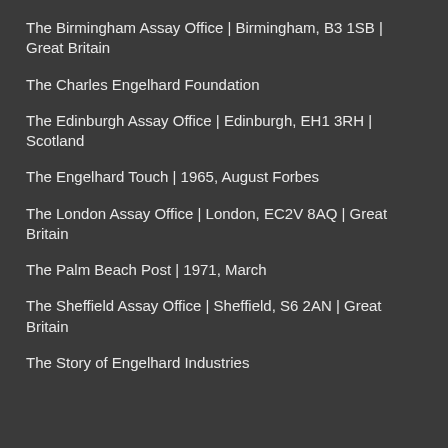The Birmingham Assay Office | Birmingham, B3 1SB | Great Britain
The Charles Engelhard Foundation
The Edinburgh Assay Office | Edinburgh, EH1 3RH | Scotland
The Engelhard Touch | 1965, August Forbes
The London Assay Office | London, EC2V 8AQ | Great Britain
The Palm Beach Post | 1971, March
The Sheffield Assay Office | Sheffield, S6 2AN | Great Britain
The Story of Engelhard Industries